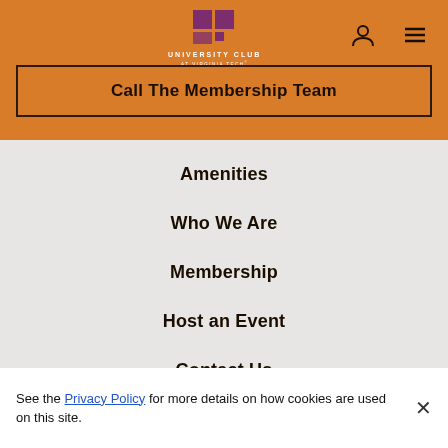[Figure (logo): University Club at Virginia Tech logo with maroon grid squares and white text on orange background]
Call The Membership Team
Amenities
Who We Are
Membership
Host an Event
Contact Us
See the Privacy Policy for more details on how cookies are used on this site.